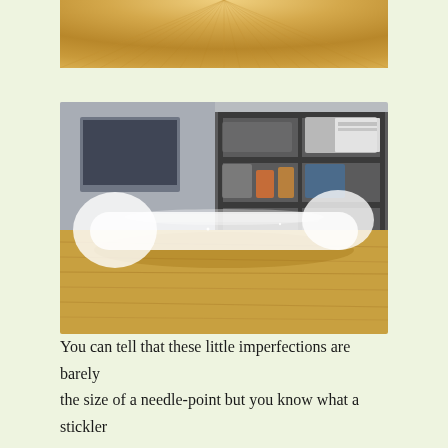[Figure (photo): Partial view of a wood-grain surface seen from above, showing radial wood grain pattern in light golden tones — cropped top portion of a photo.]
[Figure (photo): A translucent white/frosted silicone or plastic bone-shaped object lying on a wooden surface. Background shows metal shelving unit with various items. The object has a dumbbell/bone shape and appears semi-transparent. Photographed at a low angle.]
You can tell that these little imperfections are barely the size of a needle-point but you know what a stickler